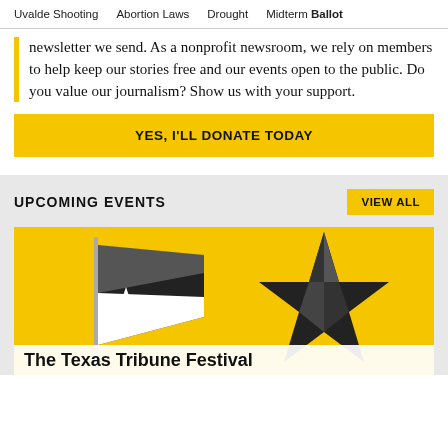Uvalde Shooting   Abortion Laws   Drought   Midterm Ballot
newsletter we send. As a nonprofit newsroom, we rely on members to help keep our stories free and our events open to the public. Do you value our journalism? Show us with your support.
YES, I'LL DONATE TODAY
UPCOMING EVENTS
VIEW ALL
[Figure (photo): Yellow background event banner with black-and-white Texas flag on the left and a large black star sculpture on the right. Text overlay at bottom reads 'The Texas Tribune Festival']